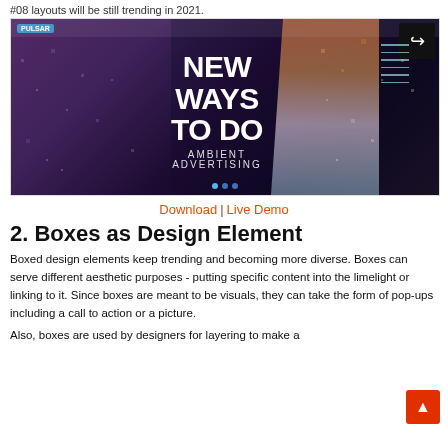#08 layouts will be still trending in 2021.
[Figure (screenshot): Dark-themed website screenshot showing 'NEW WAYS TO DO AMBIENT ADVERTISING' hero text with colorful particle burst effect on dark purple/black background, with navigation logo top-left, share button top-right, and slideshow dots at bottom]
Download | Live Demo
2. Boxes as Design Element
Boxed design elements keep trending and becoming more diverse. Boxes can serve different aesthetic purposes - putting specific content into the limelight or linking to it. Since boxes are meant to be visuals, they can take the form of pop-ups including a call to action or a picture.
Also, boxes are used by designers for layering to make a